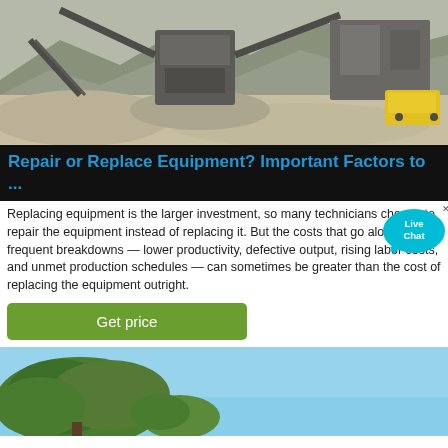[Figure (photo): Industrial quarry/mining equipment and machinery with piles of crushed stone, conveyor belts, and a yellow bulldozer in background with mountains.]
Repair or Replace Equipment? Important Factors to ...
Replacing equipment is the larger investment, so many technicians choose to repair the equipment instead of replacing it. But the costs that go along with frequent breakdowns — lower productivity, defective output, rising labor costs, and unmet production schedules — can sometimes be greater than the cost of replacing the equipment outright.
[Figure (illustration): Live Chat speech bubble widget with 'Live Chat' text in cyan/blue.]
[Figure (photo): Outdoor scene with green trees against a blue sky, bottom portion of page.]